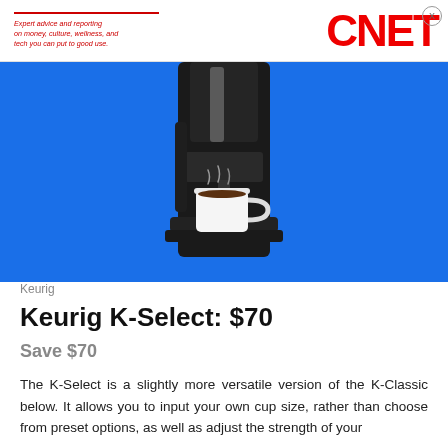Expert advice and reporting on money, culture, wellness, and tech you can put to good use. CNET
[Figure (photo): Keurig K-Select single-serve coffee maker in black with a white mug underneath, on a bright blue background]
Keurig
Keurig K-Select: $70
Save $70
The K-Select is a slightly more versatile version of the K-Classic below. It allows you to input your own cup size, rather than choose from preset options, as well as adjust the strength of your